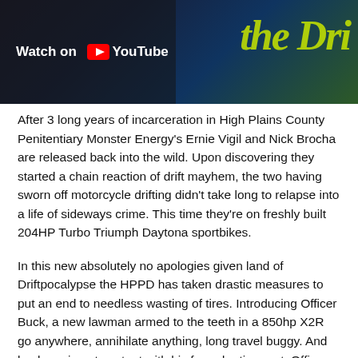[Figure (screenshot): YouTube video thumbnail showing motorcycle drifting scene with 'Watch on YouTube' overlay on left and yellow graffiti-style text 'the Dri...' on right]
After 3 long years of incarceration in High Plains County Penitentiary Monster Energy's Ernie Vigil and Nick Brocha are released back into the wild. Upon discovering they started a chain reaction of drift mayhem, the two having sworn off motorcycle drifting didn't take long to relapse into a life of sideways crime. This time they're on freshly built 204HP Turbo Triumph Daytona sportbikes.
In this new absolutely no apologies given land of Driftpocalypse the HPPD has taken drastic measures to put an end to needless wasting of tires. Introducing Officer Buck, a new lawman armed to the teeth in a 850hp X2R go anywhere, annihilate anything, long travel buggy. And back again not content with his forced retirement, Officer Dan Brockett on permanent sabbatical from the HPPD finds a way to join the chase in his personal build 575HP undercover pursuit vehicle.
Directed & Edited by Matthew Brown Sanders